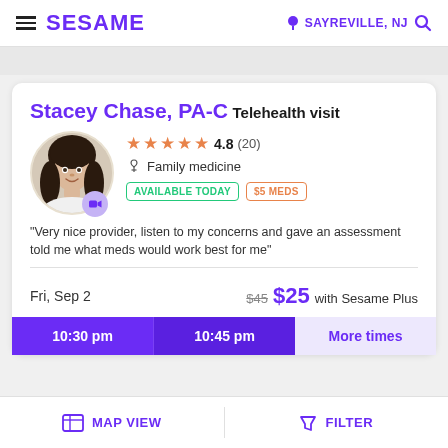SESAME | SAYREVILLE, NJ
Stacey Chase, PA-C
Telehealth visit
[Figure (photo): Provider photo of Stacey Chase, PA-C, a woman with dark hair, circular avatar with video camera badge]
4.8 (20) Family medicine AVAILABLE TODAY $5 MEDS
"Very nice provider, listen to my concerns and gave an assessment told me what meds would work best for me"
Fri, Sep 2   $45  $25 with Sesame Plus
10:30 pm  10:45 pm  More times
MAP VIEW | FILTER